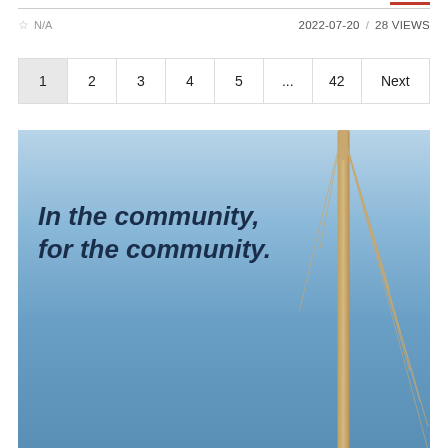☆ N/A    2022-07-20 / 28 VIEWS
1  2  3  4  5  ...  42  Next
[Figure (photo): Photo of a cable-stayed bridge pylon against a blue sky, with the text overlay 'In the community, for the community.' written in dark blue bold italic font.]